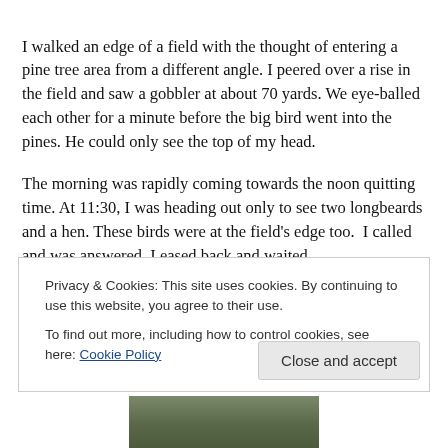I walked an edge of a field with the thought of entering a pine tree area from a different angle. I peered over a rise in the field and saw a gobbler at about 70 yards. We eye-balled each other for a minute before the big bird went into the pines. He could only see the top of my head.
The morning was rapidly coming towards the noon quitting time. At 11:30, I was heading out only to see two longbeards and a hen. These birds were at the field's edge too. I called and was answered. I eased back and waited
Privacy & Cookies: This site uses cookies. By continuing to use this website, you agree to their use.
To find out more, including how to control cookies, see here: Cookie Policy
Close and accept
[Figure (photo): Partial view of a nature/outdoor photo, green and brown tones suggesting forest floor or field ground]